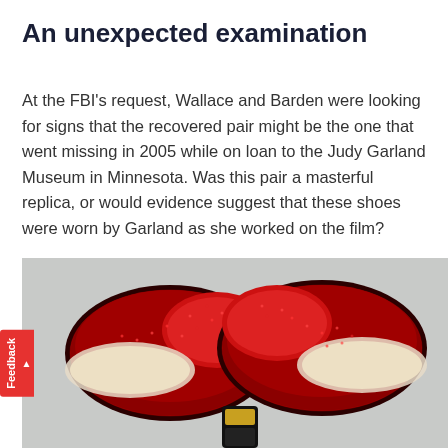An unexpected examination
At the FBI's request, Wallace and Barden were looking for signs that the recovered pair might be the one that went missing in 2005 while on loan to the Judy Garland Museum in Minnesota. Was this pair a masterful replica, or would evidence suggest that these shoes were worn by Garland as she worked on the film?
[Figure (photo): Top-down view of a pair of ruby red sequined slippers (Dorothy's shoes from The Wizard of Oz), showing the toe areas and insoles, with a small decorative item visible between them, photographed on a light background.]